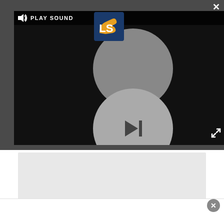[Figure (screenshot): Video player widget with dark background, hourglass/circle animation, PLAY SOUND button with speaker icon, LS logo, and expand/close icons]
[Figure (screenshot): Gray content/ad placeholder box below the video player]
Now, 1,800 years after Galen first penned his text, researchers at the U.S. Department of Energy's SLAC
[Figure (screenshot): Bottom overlay with close button and gray ad area]